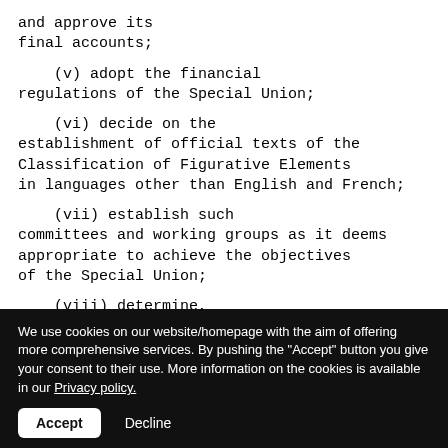and approve its final accounts;
(v) adopt the financial regulations of the Special Union;
(vi) decide on the establishment of official texts of the Classification of Figurative Elements in languages other than English and French;
(vii) establish such committees and working groups as it deems appropriate to achieve the objectives of the Special Union;
(viii) determine, subject to paragraph (1)(c), which countries not members
We use cookies on our website/homepage with the aim of offering more comprehensive services. By pushing the "Accept" button you give your consent to their use. More information on the cookies is available in our Privacy policy.